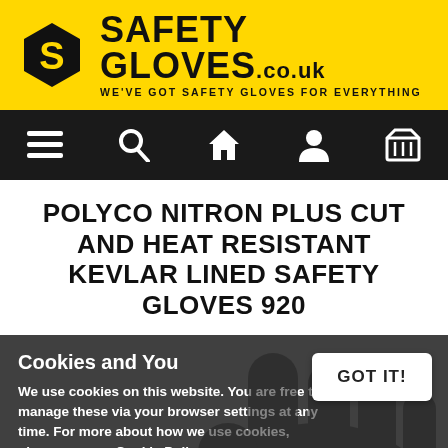[Figure (logo): Safety Gloves .co.uk logo with hexagonal S icon on yellow background. Text reads: SAFETY GLOVES.co.uk WE'VE GOT SAFETY GLOVES FOR EVERYTHING]
[Figure (infographic): Black navigation bar with five white icons: hamburger menu, magnifying glass (search), house (home), person (account), shopping basket]
POLYCO NITRON PLUS CUT AND HEAT RESISTANT KEVLAR LINED SAFETY GLOVES 920
Cookies and You
We use cookies on this website. You are free to manage these via your browser settings at any time. For more about how we use cookies, please see our Cookie Policy.